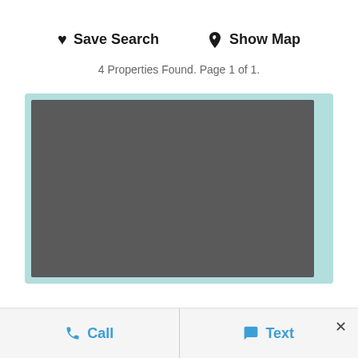Save Search
Show Map
4 Properties Found. Page 1 of 1.
[Figure (photo): Property listing image placeholder - dark gray rectangle with light blue/teal border]
Call
Text
×